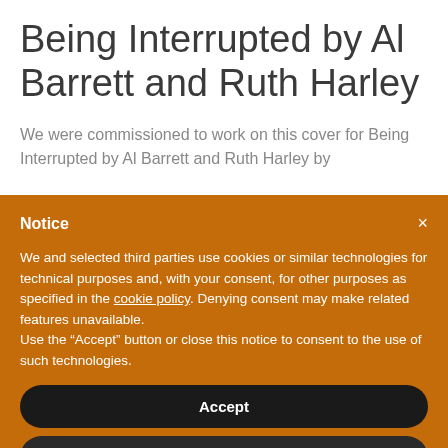Being Interrupted by Al Barrett and Ruth Harley
We were commissioned to work on this cover for Being Interrupted by Al Barrett and Ruth Harley by
Notice
We and selected third parties use cookies or similar technologies for technical purposes and, with your consent, for other purposes as specified in the cookie policy. Denying consent may make related features unavailable.
Use the “Accept” button or close this notice to consent to the use of such technologies.
Accept
Learn more and customize